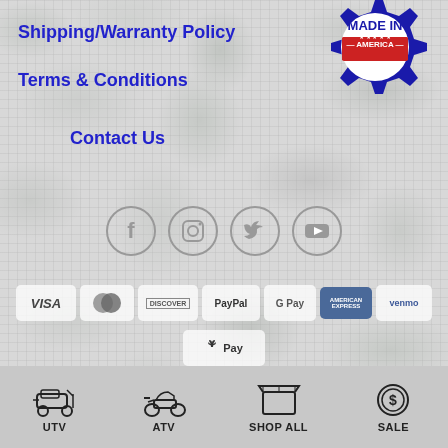[Figure (logo): Made in America logo with gear/cog shape, blue and red colors, stars and stripes]
Shipping/Warranty Policy
Terms & Conditions
Contact Us
[Figure (illustration): Social media icons row: Facebook, Instagram, Twitter, YouTube — circular outlined icons]
[Figure (illustration): Payment method icons: VISA, MasterCard, DISCOVER, PayPal, G Pay, American Express, Venmo, Apple Pay]
Copyright 2022 © American Off-Roads LLC
[Figure (illustration): Bottom navigation bar with UTV icon, ATV icon, Shop All icon, Sale icon and labels]